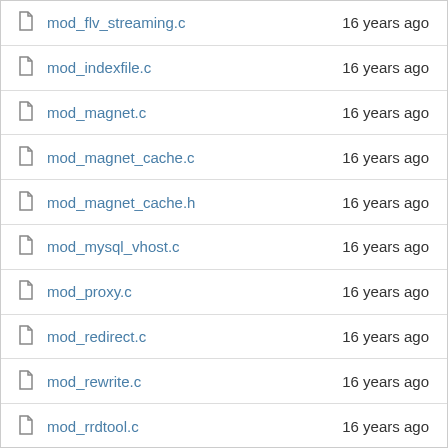mod_flv_streaming.c  16 years ago
mod_indexfile.c  16 years ago
mod_magnet.c  16 years ago
mod_magnet_cache.c  16 years ago
mod_magnet_cache.h  16 years ago
mod_mysql_vhost.c  16 years ago
mod_proxy.c  16 years ago
mod_redirect.c  16 years ago
mod_rewrite.c  16 years ago
mod_rrdtool.c  16 years ago